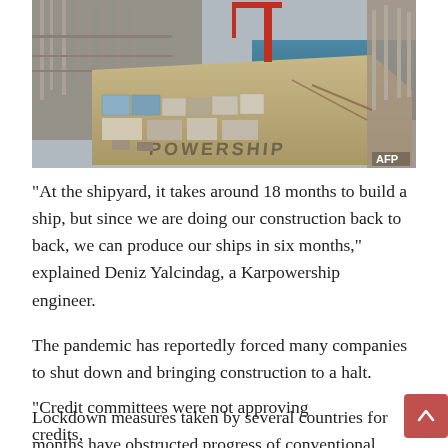[Figure (photo): Aerial view of a Karpowership vessel docked at a port or industrial facility, with industrial equipment, cranes including a red crane, containers, and blue ocean visible. AFP watermark in bottom right corner.]
“At the shipyard, it takes around 18 months to build a ship, but since we are doing our construction back to back, we can produce our ships in six months,” explained Deniz Yalcindag, a Karpowership engineer.
The pandemic has reportedly forced many companies to shut down and bringing construction to a halt.
Lockdown measures taken by several countries for months have obstructed progress of conventional power plant projects, whose construction already takes several years even in normal times.
“Credit committees were not approving credits,